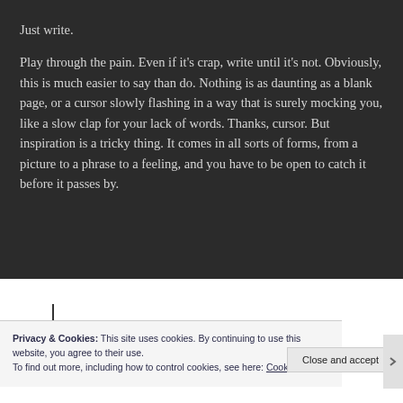Just write.
Play through the pain. Even if it's crap, write until it's not. Obviously, this is much easier to say than do. Nothing is as daunting as a blank page, or a cursor slowly flashing in a way that is surely mocking you, like a slow clap for your lack of words. Thanks, cursor. But inspiration is a tricky thing. It comes in all sorts of forms, from a picture to a phrase to a feeling, and you have to be open to catch it before it passes by.
Privacy & Cookies: This site uses cookies. By continuing to use this website, you agree to their use.
To find out more, including how to control cookies, see here: Cookie Policy
Close and accept